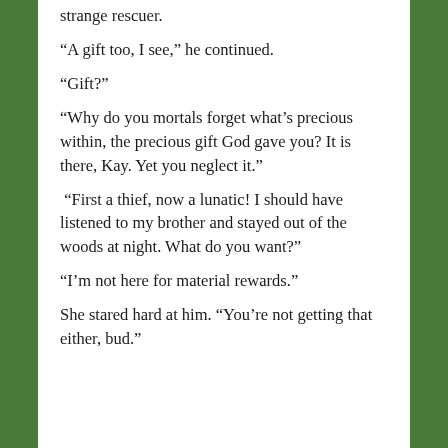strange rescuer.
“A gift too, I see,” he continued.
“Gift?”
“Why do you mortals forget what’s precious within, the precious gift God gave you? It is there, Kay. Yet you neglect it.”
“First a thief, now a lunatic! I should have listened to my brother and stayed out of the woods at night. What do you want?”
“I’m not here for material rewards.”
She stared hard at him. “You’re not getting that either, bud.”